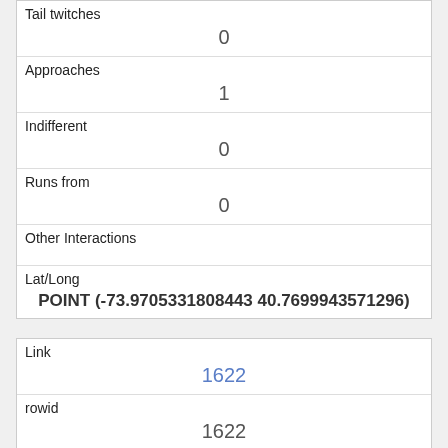| Tail twitches | 0 |
| Approaches | 1 |
| Indifferent | 0 |
| Runs from | 0 |
| Other Interactions |  |
| Lat/Long | POINT (-73.9705331808443 40.7699943571296) |
| Link | 1622 |
| rowid | 1622 |
| longitude | -73.9615090149261 |
| latitude | 40.794515017391795 |